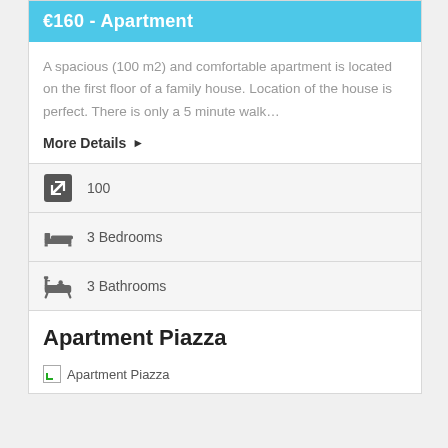€160 - Apartment
A spacious (100 m2) and comfortable apartment is located on the first floor of a family house. Location of the house is perfect. There is only a 5 minute walk…
More Details ▶
100
3 Bedrooms
3 Bathrooms
Apartment Piazza
[Figure (photo): Broken image placeholder for Apartment Piazza]